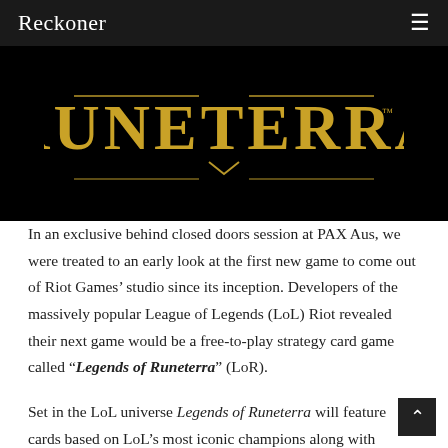Reckoner
[Figure (logo): Legends of Runeterra logo in gold lettering on a black background]
In an exclusive behind closed doors session at PAX Aus, we were treated to an early look at the first new game to come out of Riot Games' studio since its inception. Developers of the massively popular League of Legends (LoL) Riot revealed their next game would be a free-to-play strategy card game called “Legends of Runeterra” (LoR).
Set in the LoL universe Legends of Runeterra will feature cards based on LoL’s most iconic champions along with characters from different areas of Runeterra to populate